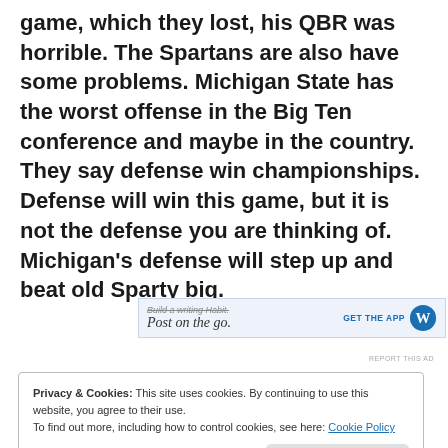game, which they lost, his QBR was horrible.  The Spartans are also have some problems.  Michigan State has the worst offense in the Big Ten conference and maybe in the country.  They say defense win championships.  Defense will win this game, but it is not the defense you are thinking of.  Michigan's defense will step up and beat old Sparty big.
[Figure (screenshot): WordPress app advertisement banner: 'Build a writing Habit. Post on the go.' with GET THE APP button and WordPress logo]
REPORT THIS AD
Privacy & Cookies: This site uses cookies. By continuing to use this website, you agree to their use.
To find out more, including how to control cookies, see here: Cookie Policy
Close and accept
[Figure (photo): Partial image of football players at bottom of page]